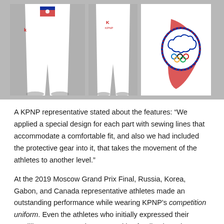[Figure (photo): Three photos of white taekwondo competition pants: left shows full-length front view with flag detail, center shows full-length front view with brand logo, right shows close-up of the Olympic/Chinese Taipei emblem on the leg.]
A KPNP representative stated about the features: “We applied a special design for each part with sewing lines that accommodate a comfortable fit, and also we had included the protective gear into it, that takes the movement of the athletes to another level.”
At the 2019 Moscow Grand Prix Final, Russia, Korea, Gabon, and Canada representative athletes made an outstanding performance while wearing KPNP’s competition uniform. Even the athletes who initially expressed their unwillingness to wear it, gave positive feedback on the